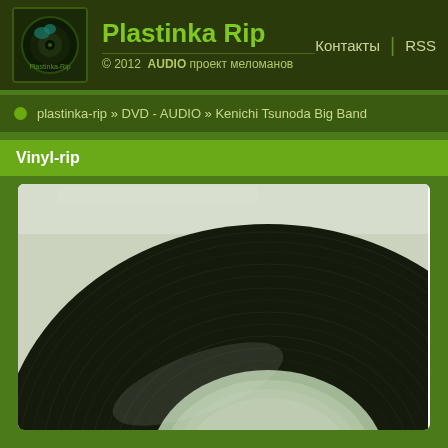Plastinka Rip — © 2012 AUDIO проект меломанов — Контакты | RSS
plastinka-rip » DVD - AUDIO » Kenichi Tsunoda Big Band
Vinyl-rip
[Figure (photo): Close-up photograph of a vinyl record showing grooves and the center label area, in black and white with green tint, on a white background]